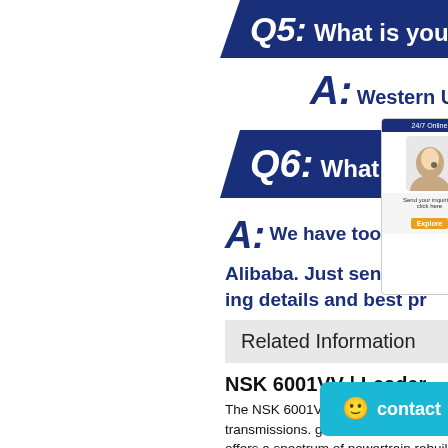Q5: What is your p
A: Western Union, TT, Pa
Q6: What shoul
A: We have too man Alibaba. Just send us t ing details and best pr
Related Information
NSK 6001VV | Leader
The NSK 6001VV was been used on markets bearings. transmissions. gearboxes. belts. chain and related products. and offers a spectrum of powertrain rebuild and repair services. The Leader Singapore leading authority on tapered roller bearings.
6001 VV C3 - NSK Deep Groove